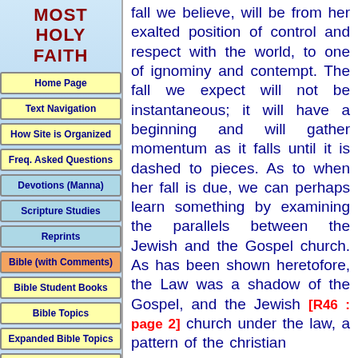MOST HOLY FAITH
Home Page
Text Navigation
How Site is Organized
Freq. Asked Questions
Devotions (Manna)
Scripture Studies
Reprints
Bible (with Comments)
Bible Student Books
Bible Topics
Expanded Bible Topics
Bible Student Webs
Miscellaneous
fall we believe, will be from her exalted position of control and respect with the world, to one of ignominy and contempt. The fall we expect will not be instantaneous; it will have a beginning and will gather momentum as it falls until it is dashed to pieces. As to when her fall is due, we can perhaps learn something by examining the parallels between the Jewish and the Gospel church. As has been shown heretofore, the Law was a shadow of the Gospel, and the Jewish [R46 : page 2] church under the law, a pattern of the christian